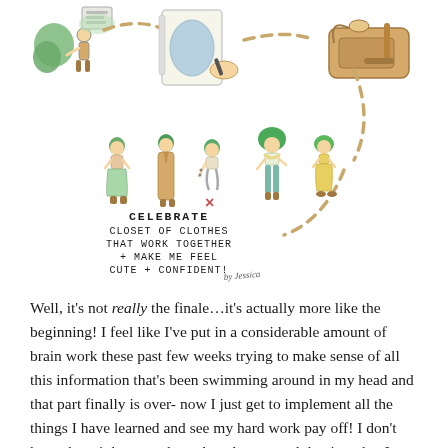[Figure (illustration): Hand-drawn illustration showing a fashion/wardrobe planning process: figures of a person, a hand sketching designs, a sewing machine, connected by dashed arrows leading to five outfit figures with text 'CELEBRATE CLOSET OF CLOTHES THAT WORK TOGETHER + MAKE ME FEEL CUTE + CONFIDENT!' signed 'by Jessica']
Well, it's not really the finale…it's actually more like the beginning! I feel like I've put in a considerable amount of brain work these past few weeks trying to make sense of all this information that's been swimming around in my head and that part finally is over- now I just get to implement all the things I have learned and see my hard work pay off! I don't know how it happened or when, but around the time that I really and truly started understanding my